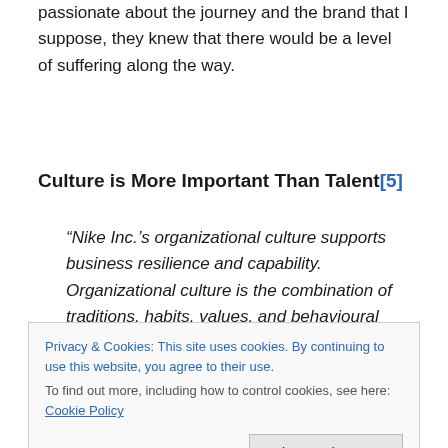passionate about the journey and the brand that I suppose, they knew that there would be a level of suffering along the way.
Culture is More Important Than Talent[5]
“Nike Inc.’s organizational culture supports business resilience and capability. Organizational culture is the combination of traditions. habits. values. and behavioural
Privacy & Cookies: This site uses cookies. By continuing to use this website, you agree to their use.
To find out more, including how to control cookies, see here: Cookie Policy
making shoes. Every one of them had a passion for